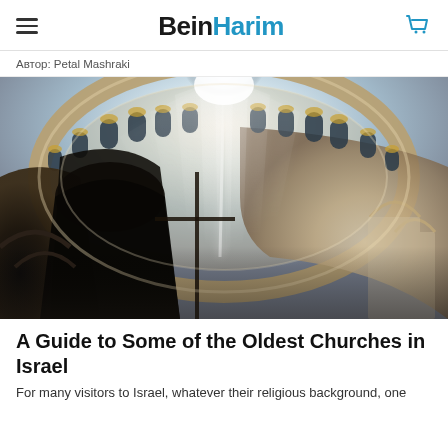BeinHarim
Автор: Petal Mashraki
[Figure (photo): Interior upward view of a large church dome with light rays streaming through the oculus, arched windows around the drum, ornate stonework, and dark church structures visible below. Likely the Church of the Holy Sepulchre in Jerusalem.]
A Guide to Some of the Oldest Churches in Israel
For many visitors to Israel, whatever their religious background, one